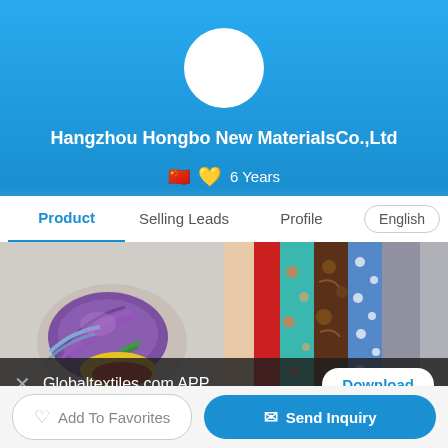[Figure (screenshot): Company profile header with blue gradient background, white circular profile avatar placeholder, company name, Chinese flag emoji, gold heart badge, and '6 Years' text.]
Hangzhou Hongbo New MaterialsCo.,Ltd
🇨🇳 💛 6 Years
Product | Selling Leads | Profile | English
[Figure (photo): Left product photo: colorful yarn/thread bundles in purple, blue, green, yellow, red colors. Right product photo: rolled fabric bolts in red, teal, brown floral, blue polka dot, gray patterns.]
Globaltextiles.com APP
Download
Add To Favorites
Send Inquiry